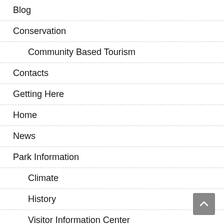Blog
Conservation
Community Based Tourism
Contacts
Getting Here
Home
News
Park Information
Climate
History
Visitor Information Center